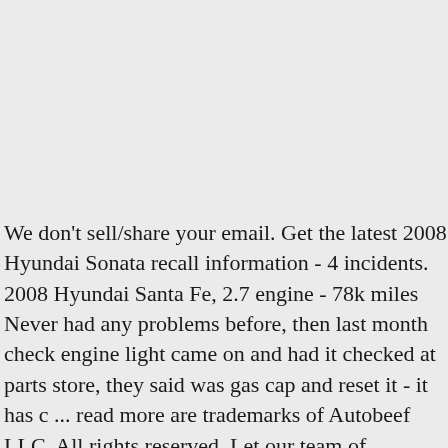We don't sell/share your email. Get the latest 2008 Hyundai Sonata recall information - 4 incidents. 2008 Hyundai Santa Fe, 2.7 engine - 78k miles Never had any problems before, then last month check engine light came on and had it checked at parts store, they said was gas cap and reset it - it has c ... read more are trademarks of Autobeef LLC, All rights reserved. Let our team of motoring experts keep you up to date with all of the latest Hyundai Sonata issues & faults. Single Owner Sonata High Mileage. Our automotive experts are here to help, If